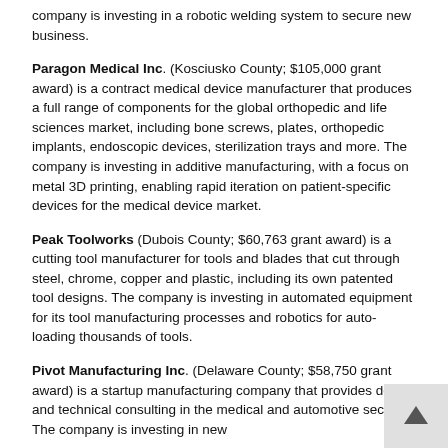company is investing in a robotic welding system to secure new business.
Paragon Medical Inc. (Kosciusko County; $105,000 grant award) is a contract medical device manufacturer that produces a full range of components for the global orthopedic and life sciences market, including bone screws, plates, orthopedic implants, endoscopic devices, sterilization trays and more. The company is investing in additive manufacturing, with a focus on metal 3D printing, enabling rapid iteration on patient-specific devices for the medical device market.
Peak Toolworks (Dubois County; $60,763 grant award) is a cutting tool manufacturer for tools and blades that cut through steel, chrome, copper and plastic, including its own patented tool designs. The company is investing in automated equipment for its tool manufacturing processes and robotics for auto-loading thousands of tools.
Pivot Manufacturing Inc. (Delaware County; $58,750 grant award) is a startup manufacturing company that provides design and technical consulting in the medical and automotive sectors. The company is investing in new